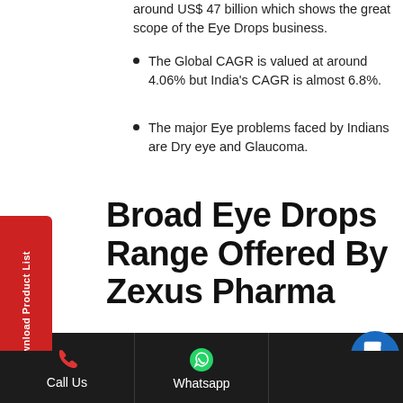around US$ 47 billion which shows the great scope of the Eye Drops business.
The Global CAGR is valued at around 4.06% but India's CAGR is almost 6.8%.
The major Eye problems faced by Indians are Dry eye and Glaucoma.
Broad Eye Drops Range Offered By Zexus Pharma
Zexus Pharma is a top-notch Eye Drops Manufacturers that offer a lot of services when it comes to offering Pharma drugs. We take care of each and every batch that we make so that there are no chances of any kind of leakage or breakage in the order that we deliver. The basic reason why we offer a wide range of Eye drops is that we want to solve everyone's eye-related issues, be it dry eyes, Glaucoma, cataract, or any other medical condition. It also